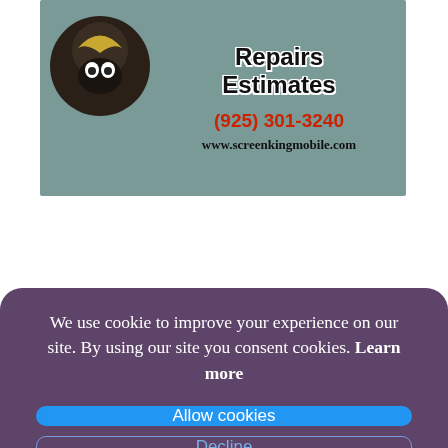[Figure (illustration): Advertisement banner for Screen King Mobile with a logo (dark circular mascot), title text 'Repairs Estimates', phone number (925) 301-3240 in red, and website www.screenkingmobile.com on a teal/grey background]
We use cookie to improve your experience on our site. By using our site you consent cookies. Learn more
Allow cookies
Decline